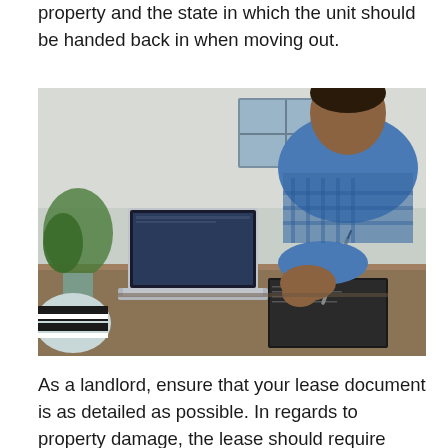property and the state in which the unit should be handed back in when moving out.
[Figure (photo): A man in a blue checked shirt sitting at a desk, writing in a notebook with a pen, with a laptop open in front of him and a plant visible in the background.]
As a landlord, ensure that your lease document is as detailed as possible. In regards to property damage, the lease should require your tenants to report property damages even minor ones as